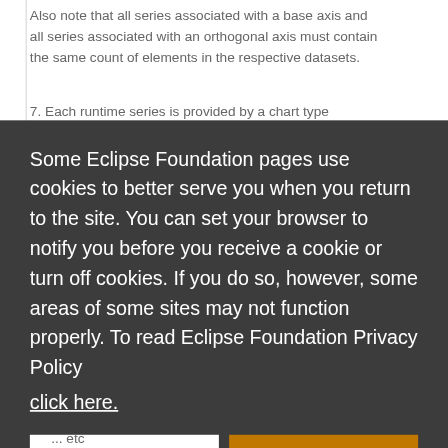Also note that all series associated with a base axis and all series associated with an orthogonal axis must contain the same count of elements in the respective datasets.
7. Each runtime series is provided by a chart type
[Figure (screenshot): Cookie consent overlay with dark background. Text reads: 'Some Eclipse Foundation pages use cookies to better serve you when you return to the site. You can set your browser to notify you before you receive a cookie or turn off cookies. If you do so, however, some areas of some sites may not function properly. To read Eclipse Foundation Privacy Policy click here.' With 'Decline' (white) and 'Allow cookies' (orange) buttons.]
... etc